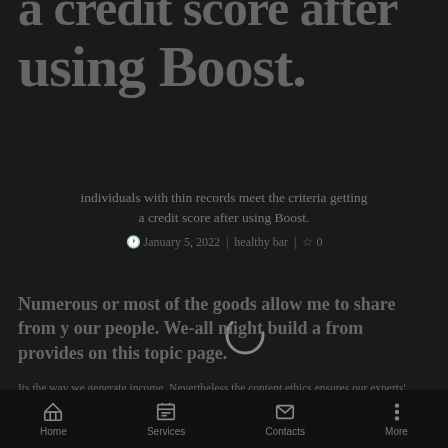a credit score after using Boost.
individuals with thin records meet the criteria getting a credit score after using Boost.
January 5, 2022 | healthy bar | ☆ 0
Numerous or most of the goods allow me to share from y our people. We-all might build a from provides on this topic page.
Its the way we generate income. Nevertheless the content ethics ensures our experts' tactics are certainly not suffering from settlement. Terms may relate to products noted on this subject article.
Home | Services | Contacts | More